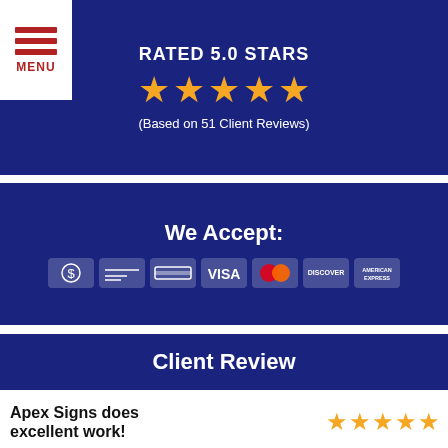[Figure (infographic): Hamburger menu icon with three red horizontal lines and MENU label below]
RATED 5.0 STARS
[Figure (infographic): Five gold stars rating]
(Based on 51 Client Reviews)
We Accept:
[Figure (infographic): Payment method icons: cash, check, credit card, VISA, Mastercard, Discover, American Express]
Client Review
Apex Signs does excellent work!
[Figure (infographic): Five gold stars rating for review]
Apex Signs was asked to do a sign project for our church grounds. They needed to comply with the current guidelines and match the existing signs for historic building and campus... read more